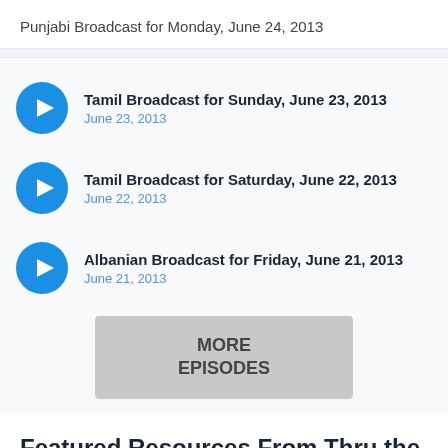Punjabi Broadcast for Monday, June 24, 2013
Tamil Broadcast for Sunday, June 23, 2013 — June 23, 2013
Tamil Broadcast for Saturday, June 22, 2013 — June 22, 2013
Albanian Broadcast for Friday, June 21, 2013 — June 21, 2013
MORE EPISODES
Featured Resources From Thru the Bible International